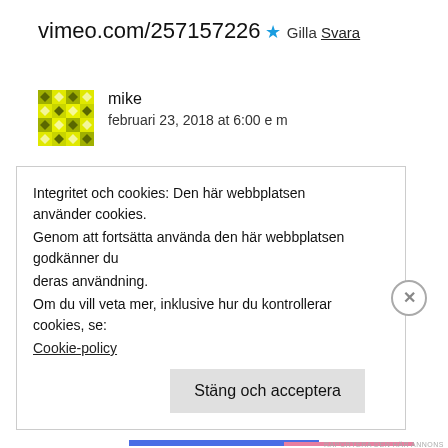vimeo.com/257157226
★ Gilla
Svara
[Figure (illustration): Yellow/green patterned avatar icon for user mike]
mike
februari 23, 2018 at 6:00 e m
Integritet och cookies: Den här webbplatsen använder cookies. Genom att fortsätta använda den här webbplatsen godkänner du deras användning.
Om du vill veta mer, inklusive hur du kontrollerar cookies, se: Cookie-policy
Stäng och acceptera